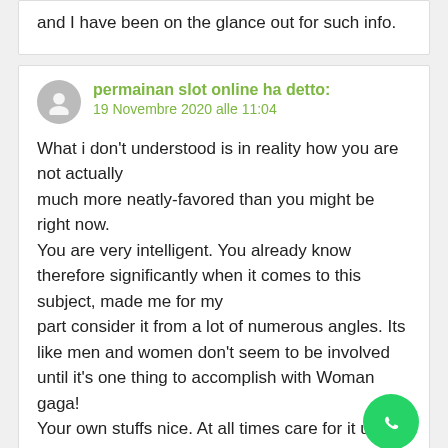and I have been on the glance out for such info.
permainan slot online ha detto:
19 Novembre 2020 alle 11:04
What i don't understood is in reality how you are not actually much more neatly-favored than you might be right now.
You are very intelligent. You already know therefore significantly when it comes to this subject, made me for my part consider it from a lot of numerous angles. Its like men and women don't seem to be involved until it's one thing to accomplish with Woman gaga! Your own stuffs nice. At all times care for it up